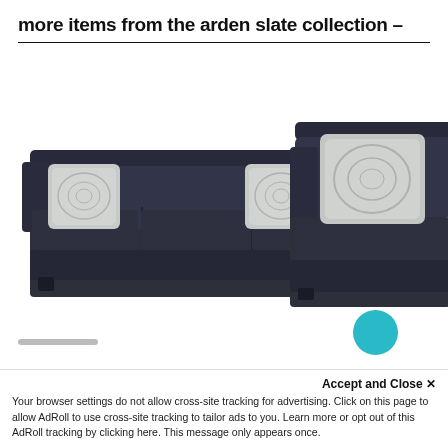more items from the arden slate collection –
[Figure (photo): Two dark slate/charcoal upholstered sofas with light grey patterned accent pillows. The left sofa is fully visible showing a three-seat sofa, and the right sofa is partially cropped showing the arm and back portion.]
Accept and Close ×
Your browser settings do not allow cross-site tracking for advertising. Click on this page to allow AdRoll to use cross-site tracking to tailor ads to you. Learn more or opt out of this AdRoll tracking by clicking here. This message only appears once.